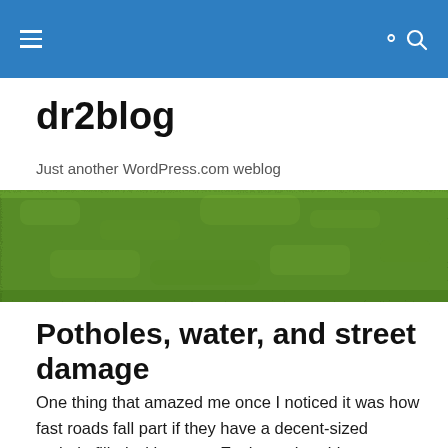dr2blog — navigation header
dr2blog
Just another WordPress.com weblog
[Figure (photo): A horizontal banner photograph of green grass texture, spanning the full width of the page.]
Potholes, water, and street damage
One thing that amazed me once I noticed it was how fast roads fall part if they have a decent-sized pothole filled with water.  Each car that drives through jets a little water